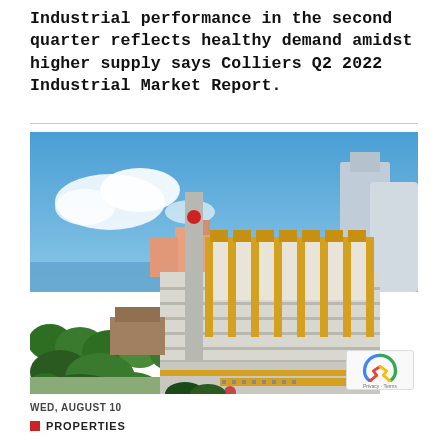Industrial performance in the second quarter reflects healthy demand amidst higher supply says Colliers Q2 2022 Industrial Market Report.
[Figure (photo): Aerial photograph of an industrial building complex with yellow and white facades, surrounded by greenery, with a waterway and city skyline in the background under a blue sky.]
WED, AUGUST 10
PROPERTIES